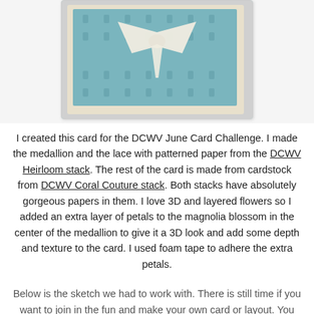[Figure (photo): A handmade greeting card with teal/blue damask patterned paper background and a paper bow or medallion decoration in the center, mounted on cream/ivory cardstock.]
I created this card for the DCWV June Card Challenge. I made the medallion and the lace with patterned paper from the DCWV Heirloom stack. The rest of the card is made from cardstock from DCWV Coral Couture stack. Both stacks have absolutely gorgeous papers in them. I love 3D and layered flowers so I added an extra layer of petals to the magnolia blossom in the center of the medallion to give it a 3D look and add some depth and texture to the card. I used foam tape to adhere the extra petals.
Below is the sketch we had to work with. There is still time if you want to join in the fun and make your own card or layout. You can find info here:
http://dcwvinc.blogspot.com/2012/06/june-stack-holic-